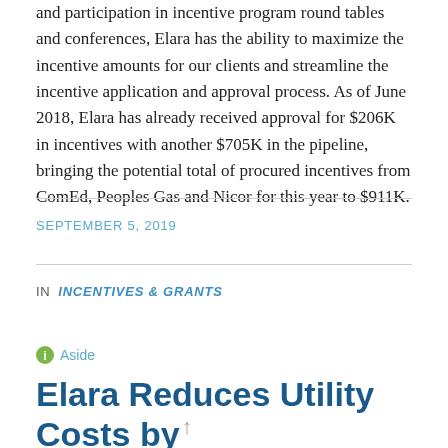and participation in incentive program round tables and conferences, Elara has the ability to maximize the incentive amounts for our clients and streamline the incentive application and approval process. As of June 2018, Elara has already received approval for $206K in incentives with another $705K in the pipeline, bringing the potential total of procured incentives from ComEd, Peoples Gas and Nicor for this year to $911K.
SEPTEMBER 5, 2019
IN INCENTIVES & GRANTS
Aside
Elara Reduces Utility Costs by $116,000 for New Orleans Hotel